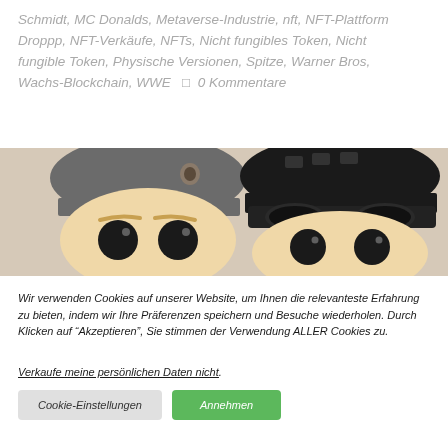Schmidt, MC Donalds, Metaverse-Industrie, nft, NFT-Plattform Droppp, NFT-Verkäufe, NFTs, Nicht fungibles Token, Nicht fungible Token, Physische Versionen, Spitze, Warner Bros, Wachs-Blockchain, WWE □ 0 Kommentare
[Figure (photo): Two Funko Pop vinyl figures shown from the shoulders up. Left figure has a grey/dark cap and light skin. Right figure has a black helmet with goggles and light skin. Both have the characteristic large black circular Funko Pop eyes.]
Wir verwenden Cookies auf unserer Website, um Ihnen die relevanteste Erfahrung zu bieten, indem wir Ihre Präferenzen speichern und Besuche wiederholen. Durch Klicken auf "Akzeptieren", Sie stimmen der Verwendung ALLER Cookies zu.
Verkaufe meine persönlichen Daten nicht.
Cookie-Einstellungen   Annehmen